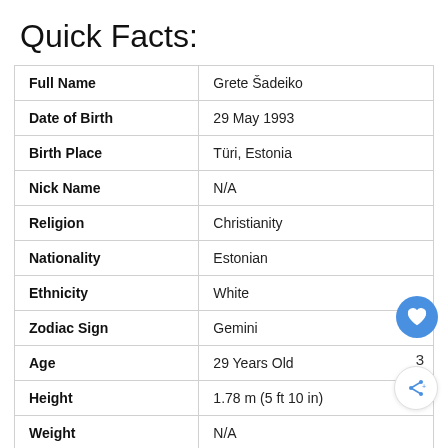Quick Facts:
|  |  |
| --- | --- |
| Full Name | Grete Šadeiko |
| Date of Birth | 29 May 1993 |
| Birth Place | Türi, Estonia |
| Nick Name | N/A |
| Religion | Christianity |
| Nationality | Estonian |
| Ethnicity | White |
| Zodiac Sign | Gemini |
| Age | 29 Years Old |
| Height | 1.78 m (5 ft 10 in) |
| Weight | N/A |
| Hair Color | Blonde |